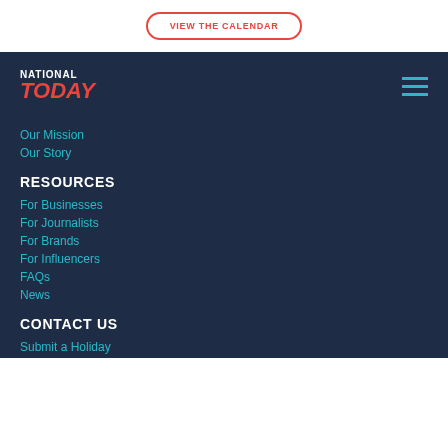VIEW THE CALENDAR
[Figure (logo): National Today logo with NATIONAL in white and TODAY in red italic]
Our Mission
Our Story
RESOURCES
For Businesses
For Journalists
For Brands
For Influencers
FAQs
News
CONTACT US
Submit a Holiday